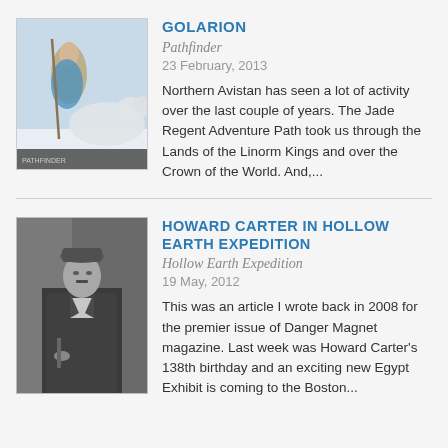[Figure (illustration): Fantasy artwork showing a woman in blue armor with a polar bear, Pathfinder book cover]
GOLARION
Pathfinder
23 February, 2013
Northern Avistan has seen a lot of activity over the last couple of years. The Jade Regent Adventure Path took us through the Lands of the Linorm Kings and over the Crown of the World. And,...
[Figure (photo): Black and white photograph of Howard Carter, a man wearing a suit and hat]
HOWARD CARTER IN HOLLOW EARTH EXPEDITION
Hollow Earth Expedition
19 May, 2012
This was an article I wrote back in 2008 for the premier issue of Danger Magnet magazine. Last week was Howard Carter's 138th birthday and an exciting new Egypt Exhibit is coming to the Boston...